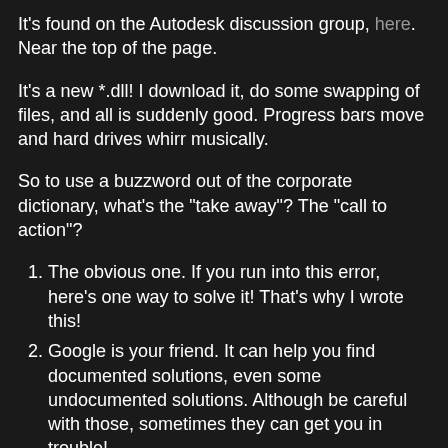It's found on the Autodesk discussion group, here. Near the top of the page.
It's a new *.dll!  I download it, do some swapping of files, and all is suddenly good. Progress bars move and hard drives whirr musically.
So to use a buzzword out of the corporate dictionary, what's the "take away"?  The "call to action"?
The obvious one.  If you run into this error, here's one way to solve it!  That's why I wrote this!
Google is your friend.  It can help you find documented solutions, even some undocumented solutions.  Although be careful with those, sometimes they can get you in trouble!
This is also one of those things that shouldn't be needed unless you actually run into the error.  So don't start swapping *.dlls because you can.  It's a "when necessary tool".